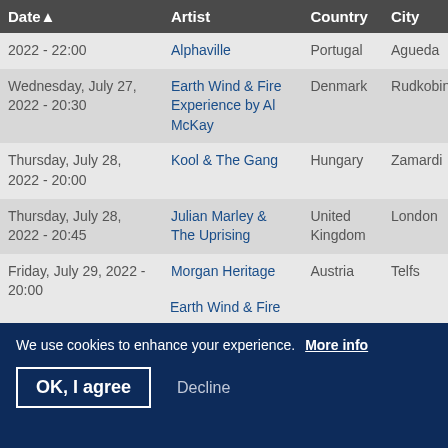| Date ▲ | Artist | Country | City |
| --- | --- | --- | --- |
| 2022 - 22:00 | Alphaville | Portugal | Agueda |
| Wednesday, July 27, 2022 - 20:30 | Earth Wind & Fire Experience by Al McKay | Denmark | Rudkobing |
| Thursday, July 28, 2022 - 20:00 | Kool & The Gang | Hungary | Zamardi |
| Thursday, July 28, 2022 - 20:45 | Julian Marley & The Uprising | United Kingdom | London |
| Friday, July 29, 2022 - 20:00 | Morgan Heritage | Austria | Telfs |
| Friday, July 29, 2022 - 20:15 | Julian Marley & The Uprising | Gibraltar | Gibraltar |
|  | Earth Wind & Fire ... |  |  |
We use cookies to enhance your experience. More info
OK, I agree   Decline